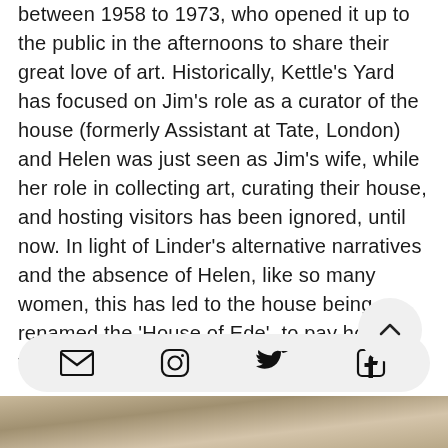between 1958 to 1973, who opened it up to the public in the afternoons to share their great love of art. Historically, Kettle's Yard has focused on Jim's role as a curator of the house (formerly Assistant at Tate, London) and Helen was just seen as Jim's wife, while her role in collecting art, curating their house, and hosting visitors has been ignored, until now. In light of Linder's alternative narratives and the absence of Helen, like so many women, this has led to the house being renamed the 'House of Ede', to pay homage to the power of un[truncated]...
[Figure (illustration): Share bar with email, Instagram, Twitter, and Facebook icons at the bottom of the page]
[Figure (photo): Partial image of artwork or object visible at the very bottom of the page]